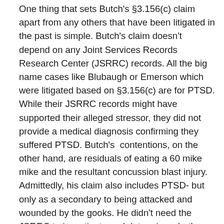One thing that sets Butch's §3.156(c) claim apart from any others that have been litigated in the past is simple. Butch's claim doesn't depend on any Joint Services Records Research Center (JSRRC) records. All the big name cases like Blubaugh or Emerson which were litigated based on §3.156(c) are for PTSD. While their JSRRC records might have supported their alleged stressor, they did not provide a medical diagnosis confirming they suffered PTSD. Butch's  contentions, on the other hand, are residuals of eating a 60 mike mike and the resultant concussion blast injury. Admittedly, his claim also includes PTSD- but only as a secondary to being attacked and wounded by the gooks. He didn't need the JSRRC to investigate and determine whether he had a valid stressor to support his bent brain diagnosis as both Emerson and Blubaugh did.